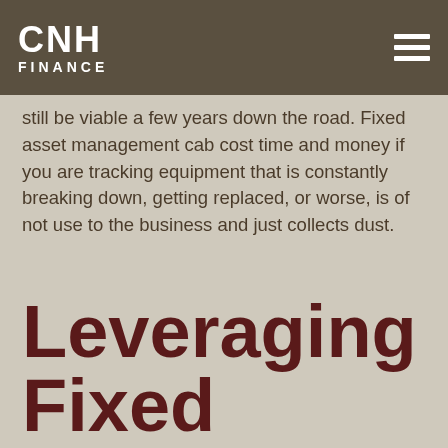CNH FINANCE
still be viable a few years down the road. Fixed asset management cab cost time and money if you are tracking equipment that is constantly breaking down, getting replaced, or worse, is of not use to the business and just collects dust.
Leveraging Fixed Assets For Growth